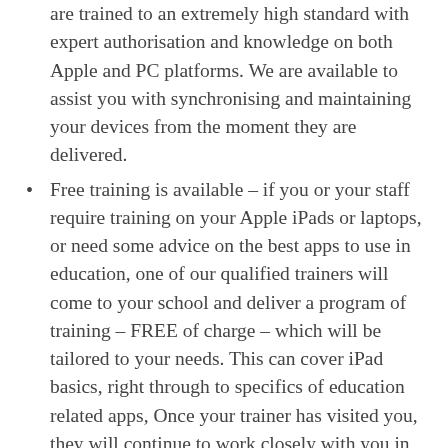are trained to an extremely high standard with expert authorisation and knowledge on both Apple and PC platforms. We are available to assist you with synchronising and maintaining your devices from the moment they are delivered.
Free training is available – if you or your staff require training on your Apple iPads or laptops, or need some advice on the best apps to use in education, one of our qualified trainers will come to your school and deliver a program of training – FREE of charge – which will be tailored to your needs. This can cover iPad basics, right through to specifics of education related apps, Once your trainer has visited you, they will continue to work closely with you in order to ensure your iPads are fully utilised in the classrooms.
Accidental Damage Insurance – each lease to a school
[Figure (photo): iPad tablet device showing lock screen with time 09:41, dark space grey color]